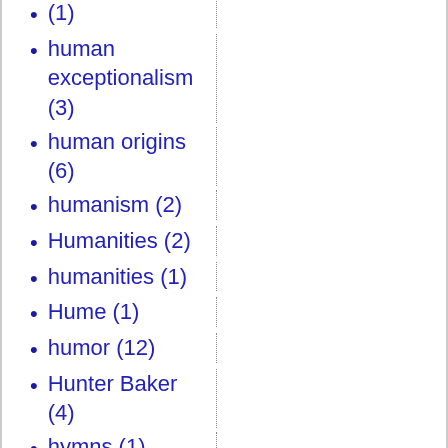(1)
human exceptionalism (3)
human origins (6)
humanism (2)
Humanities (2)
humanities (1)
Hume (1)
humor (12)
Hunter Baker (4)
hymns (1)
Iceland (1)
Identity